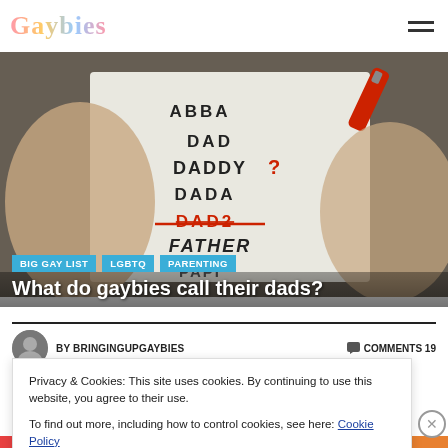Gaybies
[Figure (photo): Hands holding a whiteboard with various crossed-out words: ABBA, DAD, DADDY?, DADA, DAD2 (crossed out), FATHER, PAPI — appears to be about choosing what to call dads]
BIG GAY LIST
LGBTQ
PARENTING
What do gaybies call their dads?
BY BRINGINGUPGAYBIES
COMMENTS 19
Privacy & Cookies: This site uses cookies. By continuing to use this website, you agree to their use.
To find out more, including how to control cookies, see here: Cookie Policy
Close and accept